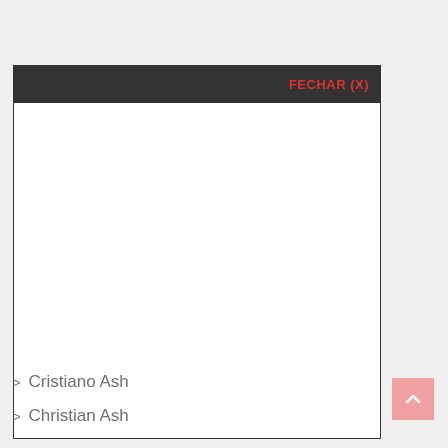[Figure (screenshot): A modal popup window with a dark gray header bar containing the text 'FECHAR (X)' in red/orange bold font on the right side. The modal body is white and empty. Below the modal are two list items: 'Cristiano Ash' and 'Christian Ash' with chevron arrows. A pink scroll-to-top button with an up arrow is on the right side.]
> Cristiano Ash
> Christian Ash